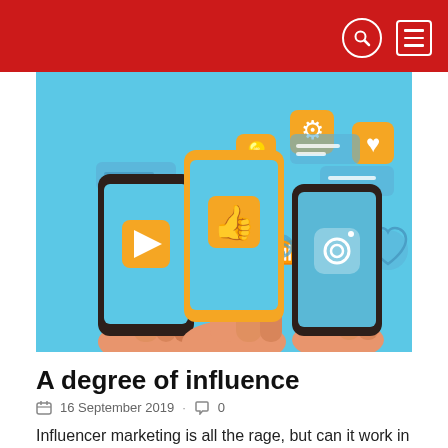[Figure (illustration): Three hands each holding a smartphone. Left phone shows a blue screen with an orange play button icon. Center phone is orange with a thumbs-up icon on screen. Right phone shows a blue screen with a camera icon. Social media icons float around the phones including a heart, gear, speech bubbles, WiFi symbol, lightbulb, and X mark, on a light blue background.]
A degree of influence
📅  16 September 2019  ·  💬 0
Influencer marketing is all the rage, but can it work in the B2B world?